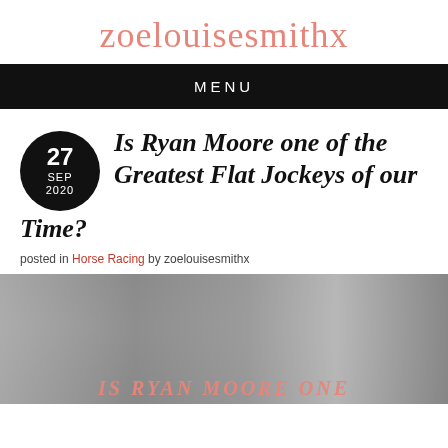zoelouisesmithx
MENU
Is Ryan Moore one of the Greatest Flat Jockeys of our Time?
posted in Horse Racing by zoelouisesmithx
[Figure (photo): Grayscale photo of a jockey (Ryan Moore) with text overlay reading IS RYAN MOORE ONE overlaid in pink/salmon italic script at the bottom]